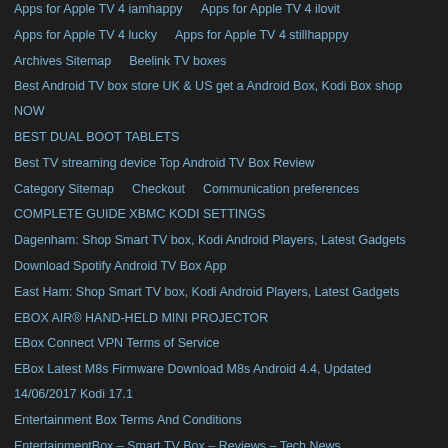Apps for Apple TV 4 iamhappy    Apps for Apple TV 4 ilovit
Apps for Apple TV 4 lucky    Apps for Apple TV 4 stillhapppy
Archives Sitemap    Beelink TV boxes
Best Android TV box store UK & US get a Android Box, Kodi Box shop NOW
BEST DUAL BOOT TABLETS
Best TV streaming device Top Android TV Box Review
Category Sitemap    Checkout    Communication preferences
COMPLETE GUIDE XBMC KODI SETTINGS
Dagenham: Shop Smart TV box, Kodi Android Players, Latest Gadgets
Download Spotify Android TV Box App
East Ham: Shop Smart TV box, Kodi Android Players, Latest Gadgets
EBOX AIR® HAND-HELD MINI PROJECTOR
EBox Connect VPN Terms of Service
EBox Latest M8s Firmware Download M8s Android 4.4, Updated 14/06/2017 Kodi 17.1
Entertainment Box Terms And Conditions
EntertainmentBox – Smart TV Box – Reviews – Tech News
EntertainmentBox Privacy Policy    EntertainmentBox Sitemaps